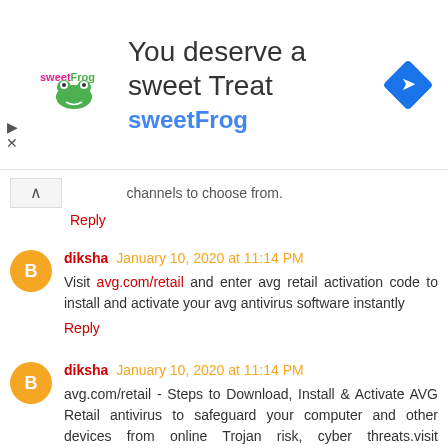[Figure (infographic): Ad banner for sweetFrog frozen yogurt. Shows sweetFrog logo, text 'You deserve a sweet Treat' and 'sweetFrog', with a blue diamond navigation icon on the right.]
channels to choose from.
Reply
diksha January 10, 2020 at 11:14 PM
Visit avg.com/retail and enter avg retail activation code to install and activate your avg antivirus software instantly
Reply
diksha January 10, 2020 at 11:14 PM
avg.com/retail - Steps to Download, Install & Activate AVG Retail antivirus to safeguard your computer and other devices from online Trojan risk, cyber threats.visit avg.com/retail for more information.
Reply